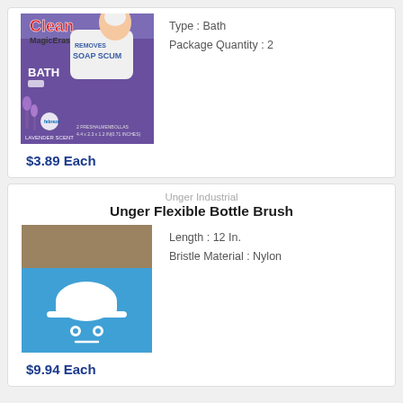[Figure (photo): Mr. Clean Magic Eraser Bath product box with purple background, showing soap scum removal and Febreze lavender scent]
Type : Bath
Package Quantity : 2
$3.89 Each
Unger Industrial
Unger Flexible Bottle Brush
[Figure (photo): Unger Industrial product image with blue and tan background showing a white hard hat robot mascot logo]
Length : 12 In.
Bristle Material : Nylon
$9.94 Each